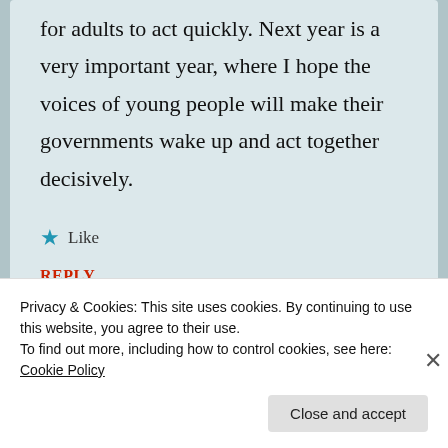for adults to act quickly. Next year is a very important year, where I hope the voices of young people will make their governments wake up and act together decisively.
★ Like
REPLY
Privacy & Cookies: This site uses cookies. By continuing to use this website, you agree to their use.
To find out more, including how to control cookies, see here: Cookie Policy
Close and accept